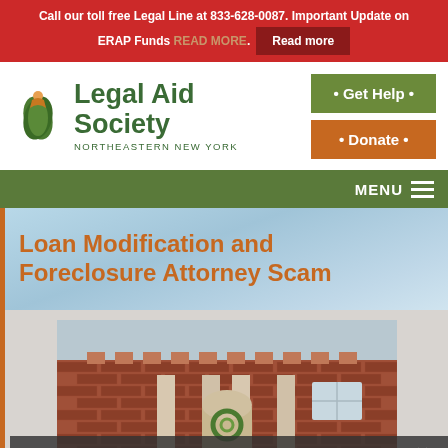Call our toll free Legal Line at 833-628-0087. Important Update on ERAP Funds READ MORE. Read more
[Figure (logo): Legal Aid Society Northeastern New York logo with green leaf graphic]
• Get Help •
• Donate •
MENU
Loan Modification and Foreclosure Attorney Scam
[Figure (photo): Brick house exterior with columns and decorative wreath]
Share This